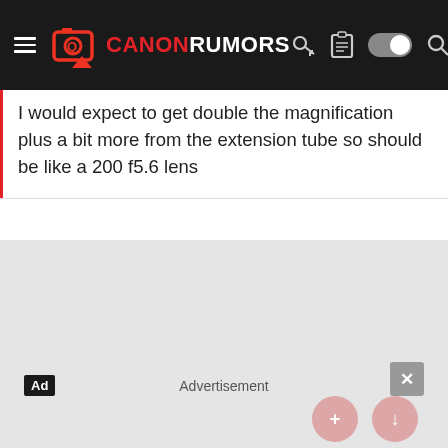CANONRUMORS
I would expect to get double the magnification plus a bit more from the extension tube so should be like a 200 f5.6 lens
[Figure (other): Gray advertisement placeholder area with Ad badge, Advertisement label text, and close button]
Advertisement